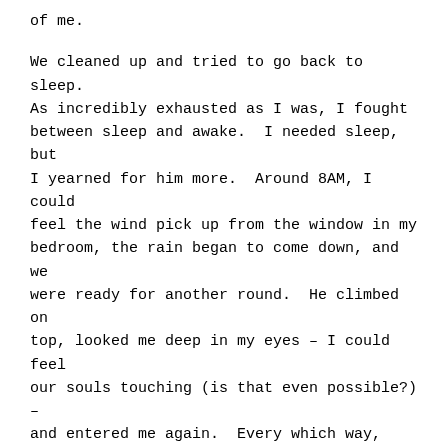of me.
We cleaned up and tried to go back to sleep. As incredibly exhausted as I was, I fought between sleep and awake. I needed sleep, but I yearned for him more. Around 8AM, I could feel the wind pick up from the window in my bedroom, the rain began to come down, and we were ready for another round. He climbed on top, looked me deep in my eyes – I could feel our souls touching (is that even possible?) – and entered me again. Every which way, every position…our bodies danced together.
I made some breakfast and we spent the morning in bed. The rain began to stop and it looked like the weather may turn around. He had planned to leave to catch a train home at 11:30 and put his pants on. But I had to have